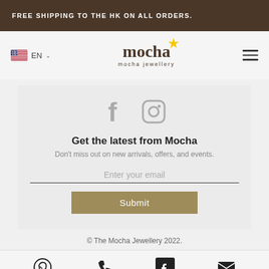FREE SHIPPING TO THE HK ON ALL ORDERS.
[Figure (logo): Mocha Jewellery logo with brown script text and yellow star, subtitle 'mocha jewellery']
[Figure (infographic): Social media icons: Facebook (f) and Instagram camera icon in gray]
Get the latest from Mocha
Don't miss out on new arrivals, offers, and events.
Enter your email
Submit
© The Mocha Jewellery 2022.
[Figure (infographic): Bottom bar icons: WhatsApp, phone, Facebook, email envelope]